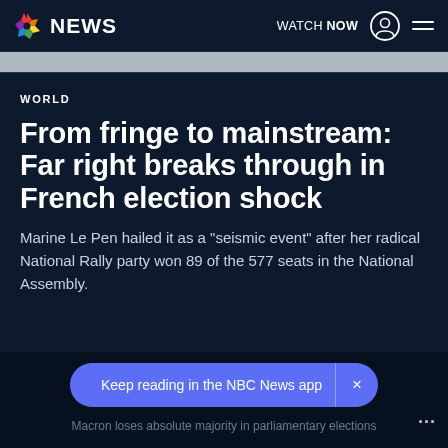NBC NEWS — WATCH NOW
WORLD
From fringe to mainstream: Far right breaks through in French election shock
Marine Le Pen hailed it as a "seismic event" after her radical National Rally party won 89 of the 577 seats in the National Assembly.
Keep reading in the NBC News app
Macron loses absolute majority in parliamentary elections